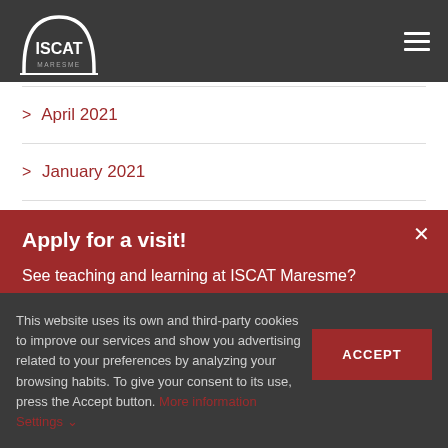ISCAT MARESME
> April 2021
> January 2021
Apply for a visit!
See teaching and learning at ISCAT Maresme?
Please schedule a personalised visit, the perfect way to
This website uses its own and third-party cookies to improve our services and show you advertising related to your preferences by analyzing your browsing habits. To give your consent to its use, press the Accept button. More information Settings